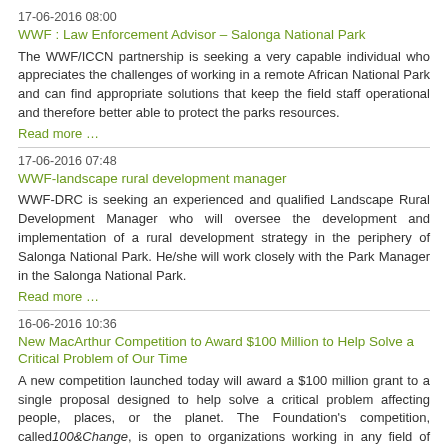17-06-2016 08:00
WWF : Law Enforcement Advisor – Salonga National Park
The WWF/ICCN partnership is seeking a very capable individual who appreciates the challenges of working in a remote African National Park and can find appropriate solutions that keep the field staff operational and therefore better able to protect the parks resources.
Read more …
17-06-2016 07:48
WWF-landscape rural development manager
WWF-DRC is seeking an experienced and qualified Landscape Rural Development Manager who will oversee the development and implementation of a rural development strategy in the periphery of Salonga National Park. He/she will work closely with the Park Manager in the Salonga National Park.
Read more …
16-06-2016 10:36
New MacArthur Competition to Award $100 Million to Help Solve a Critical Problem of Our Time
A new competition launched today will award a $100 million grant to a single proposal designed to help solve a critical problem affecting people, places, or the planet. The Foundation's competition, called 100&Change, is open to organizations working in any field of endeavor anywhere. Applicants must identify both the problem they are trying to solve, as well as their proposed solution. Competitive proposals will be meaningful, verifiable, durable, and feasible.
Read more …
16-06-2016 10:21